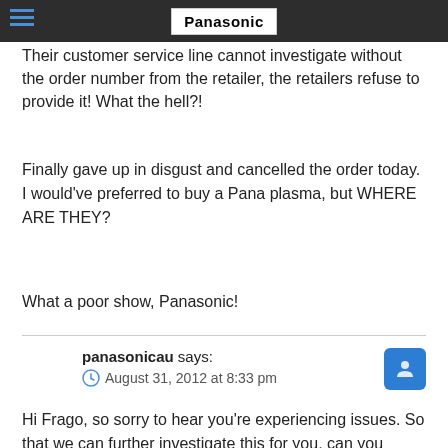Panasonic
Their customer service line cannot investigate without the order number from the retailer, the retailers refuse to provide it! What the hell?!
Finally gave up in disgust and cancelled the order today. I would've preferred to buy a Pana plasma, but WHERE ARE THEY?
What a poor show, Panasonic!
panasonicau says:
August 31, 2012 at 8:33 pm
Hi Frago, so sorry to hear you're experiencing issues. So that we can further investigate this for you, can you please let us know what Plasma model you ordered and from which retailer you ordered it from? Cheers.